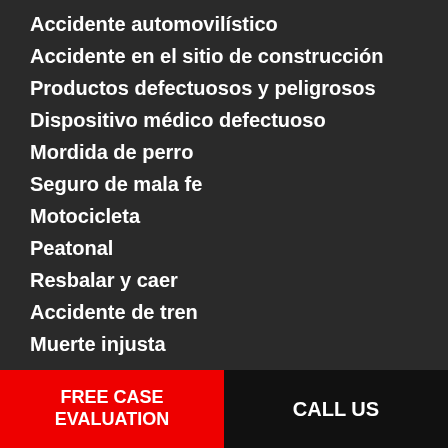Accidente automovilístico
Accidente en el sitio de construcción
Productos defectuosos y peligrosos
Dispositivo médico defectuoso
Mordida de perro
Seguro de mala fe
Motocicleta
Peatonal
Resbalar y caer
Accidente de tren
Muerte injusta
FREE CASE EVALUATION | CALL US